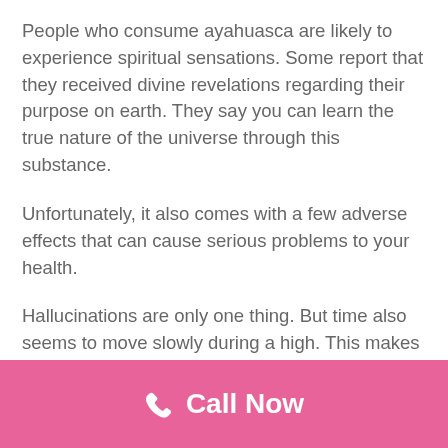People who consume ayahuasca are likely to experience spiritual sensations. Some report that they received divine revelations regarding their purpose on earth. They say you can learn the true nature of the universe through this substance.
Unfortunately, it also comes with a few adverse effects that can cause serious problems to your health.
Hallucinations are only one thing. But time also seems to move slowly during a high. This makes a person unable to perceive their surroundings properly, leading to accidents.
Physical effects include nausea, vomiting,
Call Now